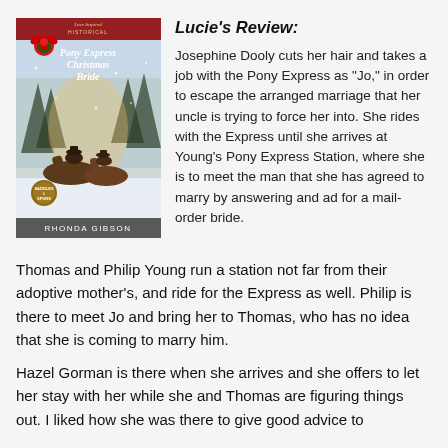[Figure (illustration): Book cover of 'Pony Express Christmas Bride' by Rhonda Gibson, Love Inspired Historical series. Shows two people on horseback in a snowy winter scene with a red bow/wreath decoration at top.]
Lucie's Review:
Josephine Dooly cuts her hair and takes a job with the Pony Express as "Jo," in order to escape the arranged marriage that her uncle is trying to force her into. She rides with the Express until she arrives at Young's Pony Express Station, where she is to meet the man that she has agreed to marry by answering and ad for a mail-order bride.
Thomas and Philip Young run a station not far from their adoptive mother's, and ride for the Express as well. Philip is there to meet Jo and bring her to Thomas, who has no idea that she is coming to marry him.
Hazel Gorman is there when she arrives and she offers to let her stay with her while she and Thomas are figuring things out. I liked how she was there to give good advice to